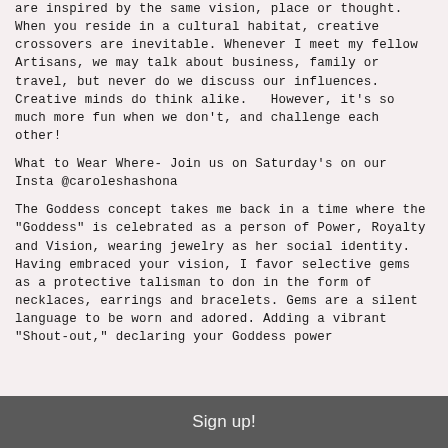are inspired by the same vision, place or thought. When you reside in a cultural habitat, creative crossovers are inevitable. Whenever I meet my fellow Artisans, we may talk about business, family or travel, but never do we discuss our influences. Creative minds do think alike.   However, it's so much more fun when we don't, and challenge each other!
What to Wear Where- Join us on Saturday's on our Insta @caroleshashona
The Goddess concept takes me back in a time where the "Goddess" is celebrated as a person of Power, Royalty and Vision, wearing jewelry as her social identity. Having embraced your vision, I favor selective gems as a protective talisman to don in the form of necklaces, earrings and bracelets. Gems are a silent language to be worn and adored. Adding a vibrant "Shout-out," declaring your Goddess power
Sign up!